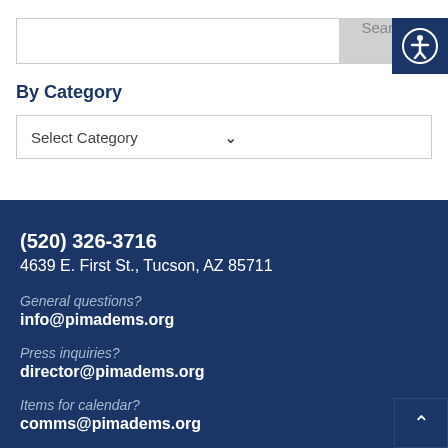Search
By Category
Select Category
(520) 326-3716
4639 E. First St., Tucson, AZ 85711

General questions?
info@pimadems.org

Press inquiries?
director@pimadems.org

Items for calendar?
comms@pimadems.org